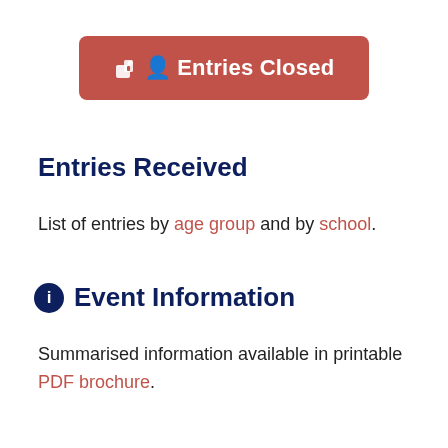[Figure (other): Red rounded button with a person/door icon and the text 'Entries Closed' in white bold text]
Entries Received
List of entries by age group and by school.
Event Information
Summarised information available in printable PDF brochure.